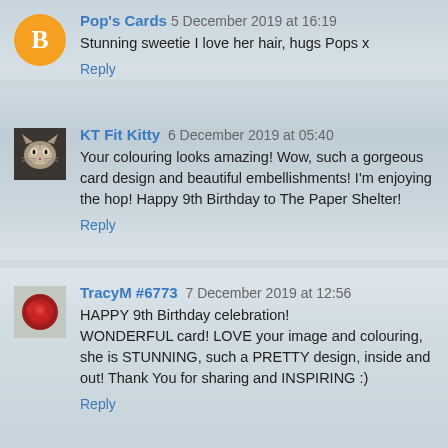Pop's Cards 5 December 2019 at 16:19
Stunning sweetie I love her hair, hugs Pops x
Reply
KT Fit Kitty 6 December 2019 at 05:40
Your colouring looks amazing! Wow, such a gorgeous card design and beautiful embellishments! I'm enjoying the hop! Happy 9th Birthday to The Paper Shelter!
Reply
TracyM #6773 7 December 2019 at 12:56
HAPPY 9th Birthday celebration! WONDERFUL card! LOVE your image and colouring, she is STUNNING, such a PRETTY design, inside and out! Thank You for sharing and INSPIRING :)
Reply